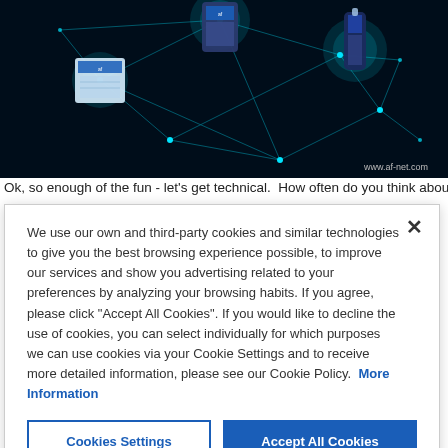[Figure (illustration): Dark blue/black background with glowing teal network nodes and connecting lines. Three product packages displayed in glowing circular highlights. URL 'www.af-net.com' visible in bottom right.]
Ok, so enough of the fun - let's get technical.  How often do you think about the
We use our own and third-party cookies and similar technologies to give you the best browsing experience possible, to improve our services and show you advertising related to your preferences by analyzing your browsing habits. If you agree, please click "Accept All Cookies". If you would like to decline the use of cookies, you can select individually for which purposes we can use cookies via your Cookie Settings and to receive more detailed information, please see our Cookie Policy.  More Information
Cookies Settings
Accept All Cookies